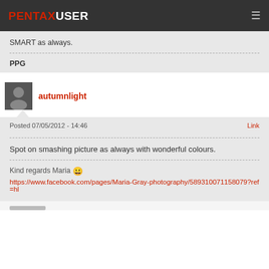PENTAXUSER
SMART as always.
PPG
autumnlight
Posted 07/05/2012 - 14:46
Link
Spot on smashing picture as always with wonderful colours.
Kind regards Maria 😊
https://www.facebook.com/pages/Maria-Gray-photography/589310071158079?ref=hl